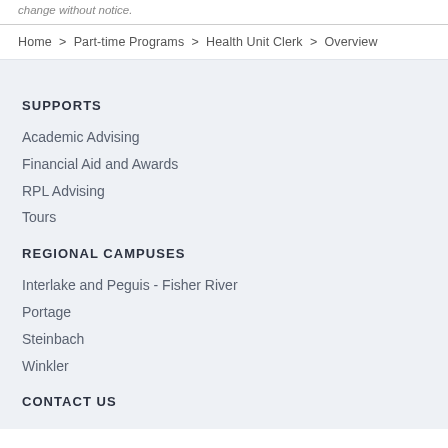change without notice.
Home > Part-time Programs > Health Unit Clerk > Overview
SUPPORTS
Academic Advising
Financial Aid and Awards
RPL Advising
Tours
REGIONAL CAMPUSES
Interlake and Peguis - Fisher River
Portage
Steinbach
Winkler
CONTACT US